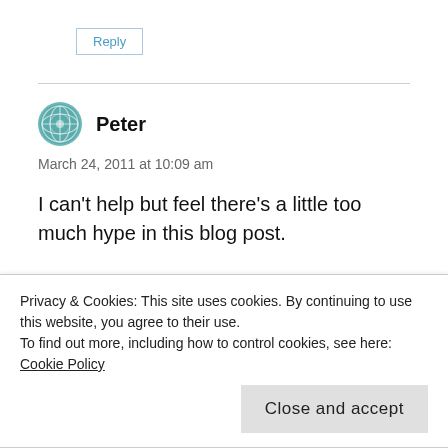Reply
Peter
March 24, 2011 at 10:09 am
I can't help but feel there's a little too much hype in this blog post.
Privacy & Cookies: This site uses cookies. By continuing to use this website, you agree to their use.
To find out more, including how to control cookies, see here: Cookie Policy
Close and accept